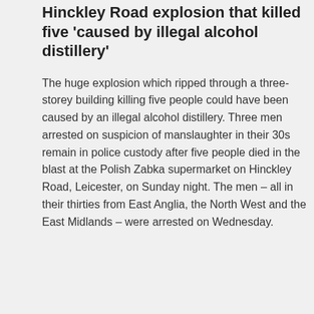Hinckley Road explosion that killed five 'caused by illegal alcohol distillery'
The huge explosion which ripped through a three-storey building killing five people could have been caused by an illegal alcohol distillery. Three men arrested on suspicion of manslaughter in their 30s remain in police custody after five people died in the blast at the Polish Zabka supermarket on Hinckley Road, Leicester, on Sunday night. The men – all in their thirties from East Anglia, the North West and the East Midlands – were arrested on Wednesday.